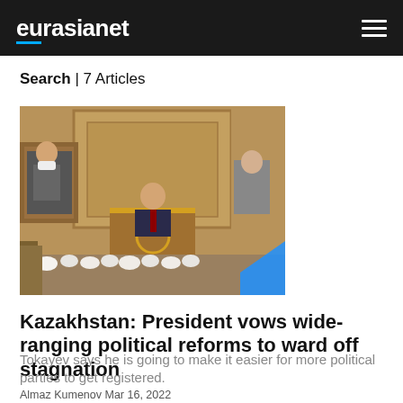eurasianet
Search | 7 Articles
[Figure (photo): A person speaking at a podium in what appears to be a parliamentary chamber, with ornate wooden paneling and gold accents. Other officials are seated behind the speaker. White flowers are arranged at the front of the podium.]
Kazakhstan: President vows wide-ranging political reforms to ward off stagnation
Tokayev says he is going to make it easier for more political parties to get registered.
Almaz Kumenov Mar 16, 2022